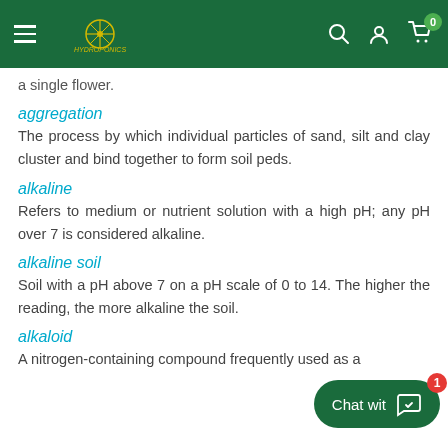Navigation header with hamburger menu, logo, search, account, and cart icons
a single flower.
aggregation
The process by which individual particles of sand, silt and clay cluster and bind together to form soil peds.
alkaline
Refers to medium or nutrient solution with a high pH; any pH over 7 is considered alkaline.
alkaline soil
Soil with a pH above 7 on a pH scale of 0 to 14. The higher the reading, the more alkaline the soil.
alkaloid
A nitrogen-containing compound frequently used as a